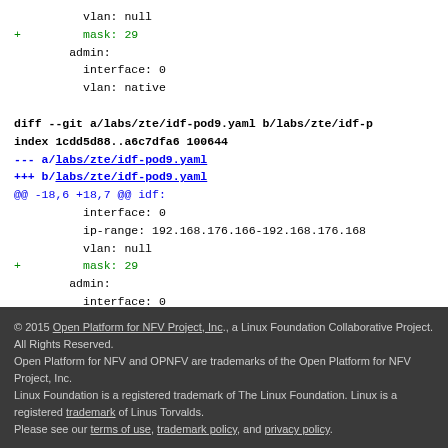vlan: null
+        mask: 29
        admin:
          interface: 0
          vlan: native

diff --git a/labs/zte/idf-pod9.yaml b/labs/zte/idf-p
index 1cdd5d88..a6c7dfa6 100644
--- a/labs/zte/idf-pod9.yaml
+++ b/labs/zte/idf-pod9.yaml
@@ -18,6 +18,7 @@ idf:
          interface: 0
          ip-range: 192.168.176.166-192.168.176.168
          vlan: null
+        mask: 29
        admin:
          interface: 0
          vlan: null
© 2015 Open Platform for NFV Project, Inc., a Linux Foundation Collaborative Project. All Rights Reserved.
Open Platform for NFV and OPNFV are trademarks of the Open Platform for NFV Project, Inc.
Linux Foundation is a registered trademark of The Linux Foundation. Linux is a registered trademark of Linus Torvalds.
Please see our terms of use, trademark policy, and privacy policy.